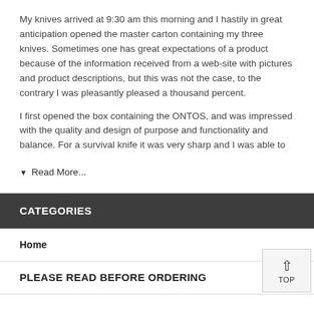My knives arrived at 9:30 am this morning and I hastily in great anticipation opened the master carton containing my three knives. Sometimes one has great expectations of a product because of the information received from a web-site with pictures and product descriptions, but this was not the case, to the contrary I was pleasantly pleased a thousand percent.
I first opened the box containing the ONTOS, and was impressed with the quality and design of purpose and functionality and balance. For a survival knife it was very sharp and I was able to
▼ Read More...
CATEGORIES
Home
PLEASE READ BEFORE ORDERING